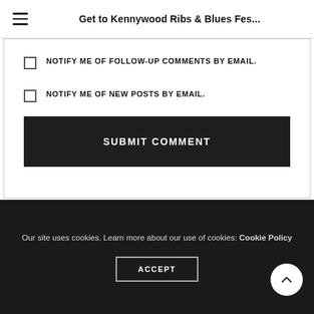Get to Kennywood Ribs & Blues Fes...
NOTIFY ME OF FOLLOW-UP COMMENTS BY EMAIL.
NOTIFY ME OF NEW POSTS BY EMAIL.
SUBMIT COMMENT
Our site uses cookies. Learn more about our use of cookies: Cookie Policy ACCEPT